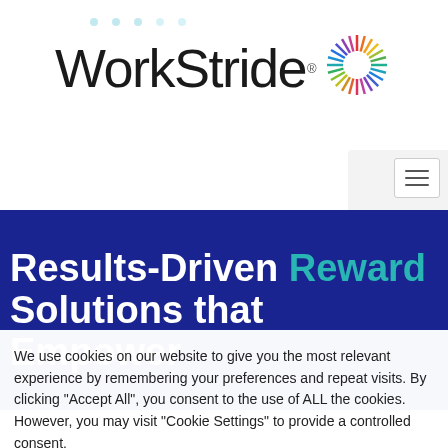[Figure (logo): WorkStride logo with colorful sunburst/starburst icon on the right side of the text]
[Figure (screenshot): Hamburger menu button (three horizontal lines) in a bordered box, top right area]
Results-Driven Reward Solutions that Empower
We use cookies on our website to give you the most relevant experience by remembering your preferences and repeat visits. By clicking "Accept All", you consent to the use of ALL the cookies. However, you may visit "Cookie Settings" to provide a controlled consent.